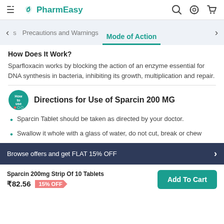PharmEasy
Mode of Action
How Does It Work?
Sparfloxacin works by blocking the action of an enzyme essential for DNA synthesis in bacteria, inhibiting its growth, multiplication and repair.
Directions for Use of Sparcin 200 MG
Sparcin Tablet should be taken as directed by your doctor.
Swallow it whole with a glass of water, do not cut, break or chew
Browse offers and get FLAT 15% OFF
Sparcin 200mg Strip Of 10 Tablets ₹82.56 15% OFF